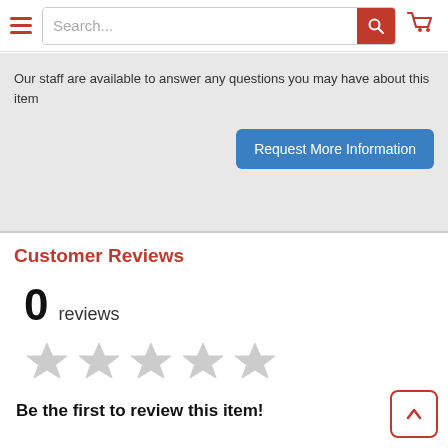Search...
Our staff are available to answer any questions you may have about this item
Customer Reviews
0 reviews
[Figure (other): Five empty/unfilled star rating icons in a row indicating 0 out of 5 stars]
Be the first to review this item!